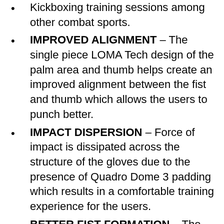Kickboxing training sessions among other combat sports.
IMPROVED ALIGNMENT – The single piece LOMA Tech design of the palm area and thumb helps create an improved alignment between the fist and thumb which allows the users to punch better.
IMPACT DISPERSION – Force of impact is dissipated across the structure of the gloves due to the presence of Quadro Dome 3 padding which results in a comfortable training experience for the users.
BETTER FIST FORMATION – The gloves use DenZo-Tron Grip Bar in the upper palm area to allow the users to attain the optimal posture for powerful